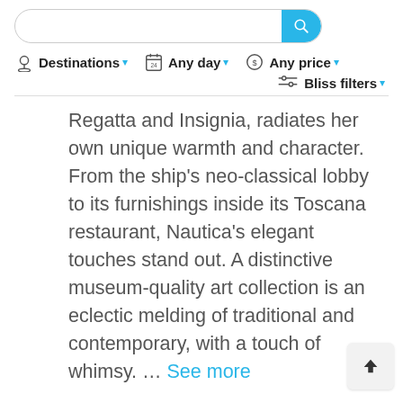[Figure (screenshot): Search bar with blue search button on the right]
Destinations ▾   Any day ▾   Any price ▾   Bliss filters ▾
Regatta and Insignia, radiates her own unique warmth and character. From the ship's neo-classical lobby to its furnishings inside its Toscana restaurant, Nautica's elegant touches stand out. A distinctive museum-quality art collection is an eclectic melding of traditional and contemporary, with a touch of whimsy. … See more